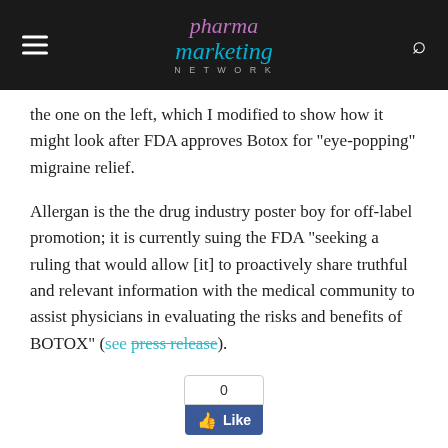pharma marketing network
the one on the left, which I modified to show how it might look after FDA approves Botox for “eye-popping” migraine relief.
Allergan is the the drug industry poster boy for off-label promotion; it is currently suing the FDA “seeking a ruling that would allow [it] to proactively share truthful and relevant information with the medical community to assist physicians in evaluating the risks and benefits of BOTOX” (see press release).
[Figure (other): Facebook Like widget showing 0 likes with a blue Like button]